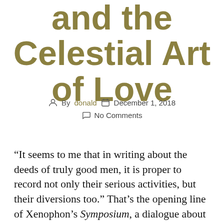and the Celestial Art of Love
By donald   December 1, 2018   No Comments
“It seems to me that in writing about the deeds of truly good men, it is proper to record not only their serious activities, but their diversions too.” That’s the opening line of Xenophon’s Symposium, a dialogue about the philosopher Socrates and his friends attending a drinking party. It’s a philosophical dialogue about the nature of love, friendship, and goodness. However, it clearly has layers of